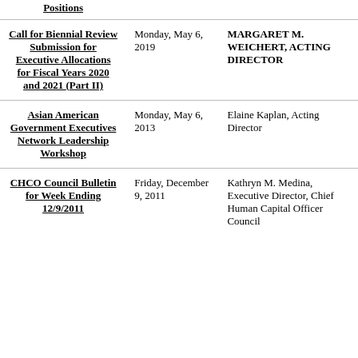| Title | Date | Author |
| --- | --- | --- |
| Positions |  |  |
| Call for Biennial Review Submission for Executive Allocations for Fiscal Years 2020 and 2021 (Part II) | Monday, May 6, 2019 | MARGARET M. WEICHERT, ACTING DIRECTOR |
| Asian American Government Executives Network Leadership Workshop | Monday, May 6, 2013 | Elaine Kaplan, Acting Director |
| CHCO Council Bulletin for Week Ending 12/9/2011 | Friday, December 9, 2011 | Kathryn M. Medina, Executive Director, Chief Human Capital Officer Council |